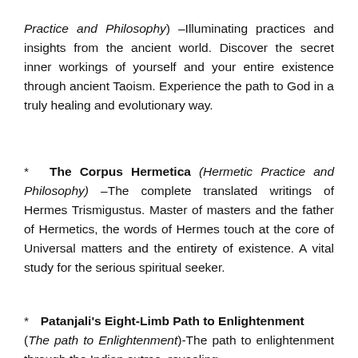Practice and Philosophy) –Illuminating practices and insights from the ancient world. Discover the secret inner workings of yourself and your entire existence through ancient Taoism. Experience the path to God in a truly healing and evolutionary way.
* The Corpus Hermetica (Hermetic Practice and Philosophy) –The complete translated writings of Hermes Trismigustus. Master of masters and the father of Hermetics, the words of Hermes touch at the core of Universal matters and the entirety of existence. A vital study for the serious spiritual seeker.
* Patanjali's Eight-Limb Path to Enlightenment (The path to Enlightenment)-The path to enlightenment through the Indian sutras, revealing